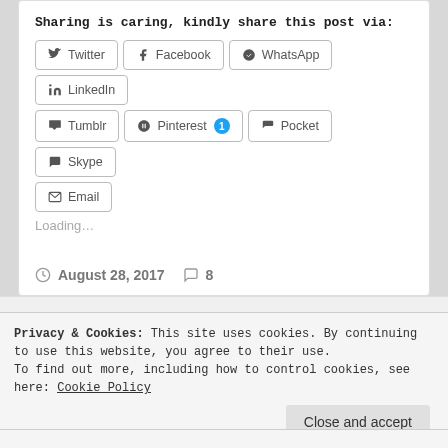Sharing is caring, kindly share this post via:
Twitter | Facebook | WhatsApp | LinkedIn | Tumblr | Pinterest 1 | Pocket | Skype | Email
Loading...
August 28, 2017  8
Privacy & Cookies: This site uses cookies. By continuing to use this website, you agree to their use.
To find out more, including how to control cookies, see here: Cookie Policy
Close and accept